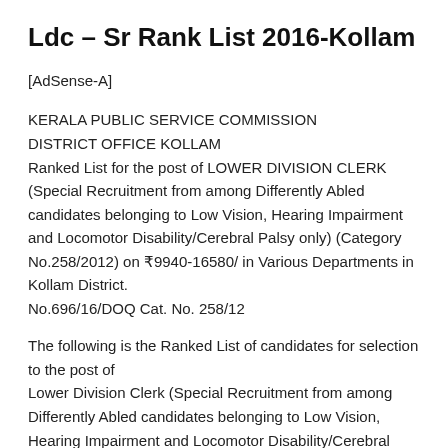Ldc – Sr Rank List 2016-Kollam
[AdSense-A]
KERALA PUBLIC SERVICE COMMISSION
DISTRICT OFFICE KOLLAM
Ranked List for the post of LOWER DIVISION CLERK (Special Recruitment from among Differently Abled candidates belonging to Low Vision, Hearing Impairment and Locomotor Disability/Cerebral Palsy only) (Category No.258/2012) on ₹9940-16580/ in Various Departments in Kollam District.
No.696/16/DOQ Cat. No. 258/12
The following is the Ranked List of candidates for selection to the post of
Lower Division Clerk (Special Recruitment from among Differently Abled candidates belonging to Low Vision, Hearing Impairment and Locomotor Disability/Cerebral